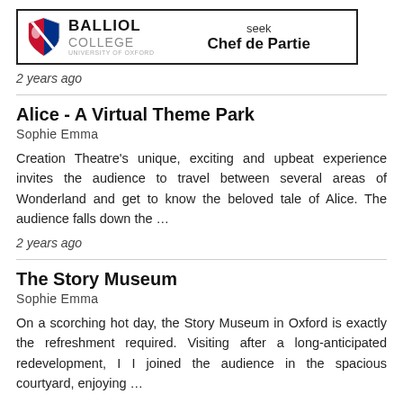[Figure (logo): Balliol College University of Oxford logo with shield, seeking Chef de Partie advertisement banner]
2 years ago
Alice - A Virtual Theme Park
Sophie Emma
Creation Theatre's unique, exciting and upbeat experience invites the audience to travel between several areas of Wonderland and get to know the beloved tale of Alice. The audience falls down the …
2 years ago
The Story Museum
Sophie Emma
On a scorching hot day, the Story Museum in Oxford is exactly the refreshment required. Visiting after a long-anticipated redevelopment, I I joined the audience in the spacious courtyard, enjoying …